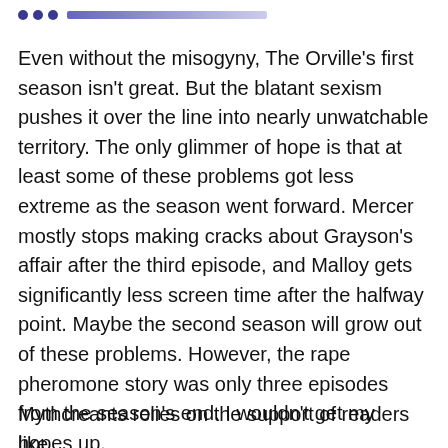• • •
Even without the misogyny, The Orville's first season isn't great. But the blatant sexism pushes it over the line into nearly unwatchable territory. The only glimmer of hope is that at least some of these problems got less extreme as the season went forward. Mercer mostly stops making cracks about Grayson's affair after the third episode, and Malloy gets significantly less screen time after the halfway point. Maybe the second season will grow out of these problems. However, the rape pheromone story was only three episodes from the season's end. I wouldn't get my hopes up.
Mythcreants relies on the support of readers like